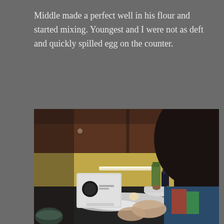Middle made a perfect well in his flour and started mixing. Youngest and I were not as deft and quickly spilled egg on the counter.
[Figure (photo): A child leaning over a kitchen counter working with flour, with a white toaster and bottles in the background on a dark countertop.]